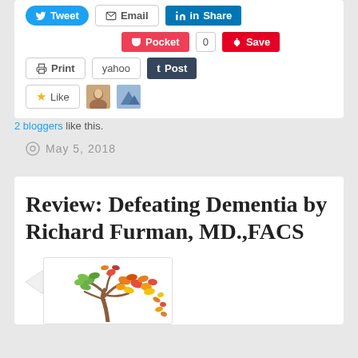[Figure (screenshot): Social sharing buttons: Tweet, Email, Share (LinkedIn), Pocket (0), Save (Pinterest), Print, yahoo, Post (Tumblr), Like with two blogger avatars]
2 bloggers like this.
May 5, 2018
Review: Defeating Dementia by Richard Furman, MD.,FACS
[Figure (illustration): Colorful autumn tree illustration with orange, red, yellow and green leaves]